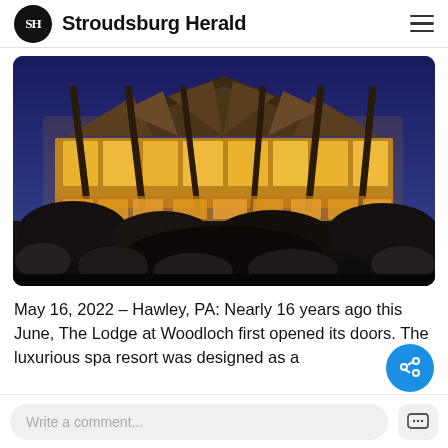SH Stroudsburg Herald
[Figure (photo): Night exterior photo of The Lodge at Woodloch — a large timber-frame building with dramatic angled wooden columns and glowing warm-lit floor-to-ceiling windows against a deep blue twilight sky, with dark foreground rocks and vegetation.]
May 16, 2022 – Hawley, PA: Nearly 16 years ago this June, The Lodge at Woodloch first opened its doors. The luxurious spa resort was designed as a